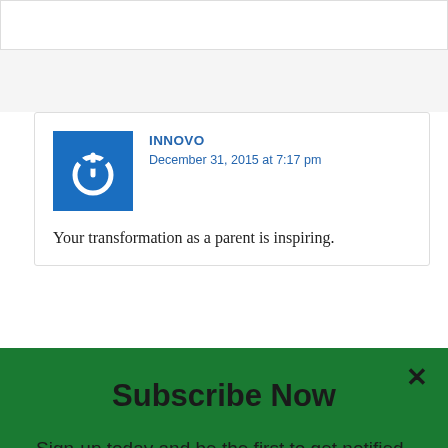[Figure (screenshot): White top bar area of a webpage]
[Figure (illustration): Blue square avatar with white power button icon]
INNOVO
December 31, 2015 at 7:17 pm
Your transformation as a parent is inspiring.
Subscribe Now
Sign-up today and be the first to get notified on new updates.
Enter your email
Submit
powered by MailMunch